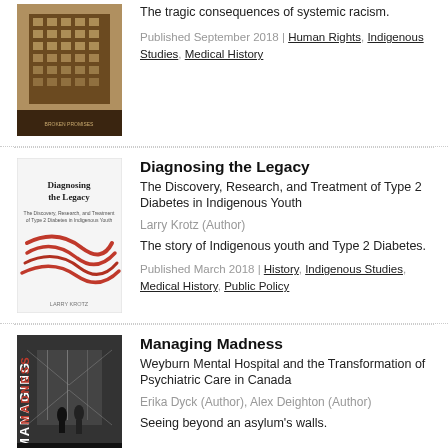[Figure (illustration): Book cover - dark building facade with grid windows]
The tragic consequences of systemic racism.
Published September 2018 | Human Rights, Indigenous Studies, Medical History
[Figure (illustration): Book cover - Diagnosing the Legacy, white cover with red rope/cord]
Diagnosing the Legacy
The Discovery, Research, and Treatment of Type 2 Diabetes in Indigenous Youth
Larry Krotz (Author)
The story of Indigenous youth and Type 2 Diabetes.
Published March 2018 | History, Indigenous Studies, Medical History, Public Policy
[Figure (illustration): Book cover - Managing Madness, black and white photo of hospital corridor with figures]
Managing Madness
Weyburn Mental Hospital and the Transformation of Psychiatric Care in Canada
Erika Dyck (Author), Alex Deighton (Author)
Seeing beyond an asylum's walls.